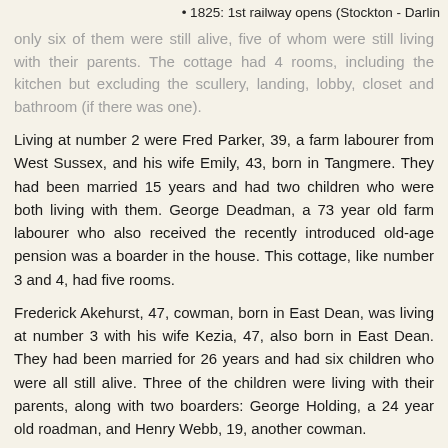• 1825: 1st railway opens (Stockton - Darlin
only six of them were still alive, five of whom were still living with their parents. The cottage had 4 rooms, including the kitchen but excluding the scullery, landing, lobby, closet and bathroom (if there was one).
Living at number 2 were Fred Parker, 39, a farm labourer from West Sussex, and his wife Emily, 43, born in Tangmere. They had been married 15 years and had two children who were both living with them. George Deadman, a 73 year old farm labourer who also received the recently introduced old-age pension was a boarder in the house. This cottage, like number 3 and 4, had five rooms.
Frederick Akehurst, 47, cowman, born in East Dean, was living at number 3 with his wife Kezia, 47, also born in East Dean. They had been married for 26 years and had six children who were all still alive. Three of the children were living with their parents, along with two boarders: George Holding, a 24 year old roadman, and Henry Webb, 19, another cowman.